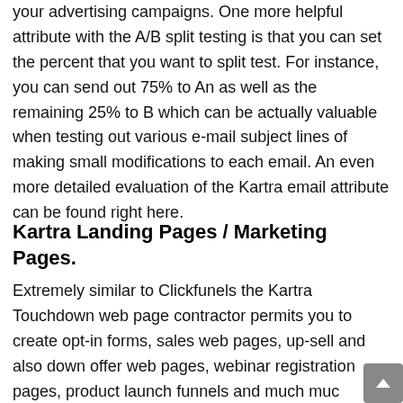your advertising campaigns. One more helpful attribute with the A/B split testing is that you can set the percent that you want to split test. For instance, you can send out 75% to An as well as the remaining 25% to B which can be actually valuable when testing out various e-mail subject lines of making small modifications to each email. An even more detailed evaluation of the Kartra email attribute can be found right here.
Kartra Landing Pages / Marketing Pages.
Extremely similar to Clickfunels the Kartra Touchdown web page contractor permits you to create opt-in forms, sales web pages, up-sell and also down offer web pages, webinar registration pages, product launch funnels and much much more!